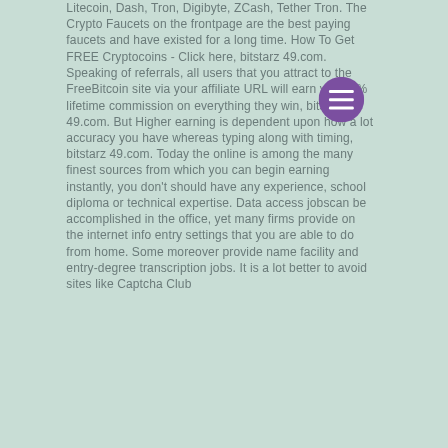Litecoin, Dash, Tron, Digibyte, ZCash, Tether Tron. The Crypto Faucets on the frontpage are the best paying faucets and have existed for a long time. How To Get FREE Cryptocoins - Click here, bitstarz 49.com. Speaking of referrals, all users that you attract to the FreeBitcoin site via your affiliate URL will earn you 50% lifetime commission on everything they win, bitstarz 49.com. But Higher earning is dependent upon how a lot accuracy you have whereas typing along with timing, bitstarz 49.com. Today the online is among the many finest sources from which you can begin earning instantly, you don't should have any experience, school diploma or technical expertise. Data access jobscan be accomplished in the office, yet many firms provide on the internet info entry settings that you are able to do from home. Some moreover provide name facility and entry-degree transcription jobs. It is a lot better to avoid sites like Captcha Club
[Figure (other): Purple circular menu button with three horizontal white lines (hamburger icon)]